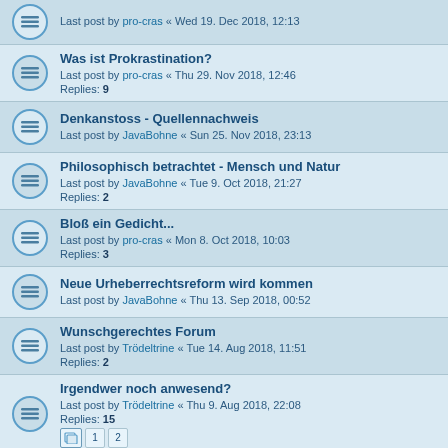Last post by pro-cras « Wed 19. Dec 2018, 12:13
Was ist Prokrastination?
Last post by pro-cras « Thu 29. Nov 2018, 12:46
Replies: 9
Denkanstoss - Quellennachweis
Last post by JavaBohne « Sun 25. Nov 2018, 23:13
Philosophisch betrachtet - Mensch und Natur
Last post by JavaBohne « Tue 9. Oct 2018, 21:27
Replies: 2
Bloß ein Gedicht...
Last post by pro-cras « Mon 8. Oct 2018, 10:03
Replies: 3
Neue Urheberrechtsreform wird kommen
Last post by JavaBohne « Thu 13. Sep 2018, 00:52
Wunschgerechtes Forum
Last post by Trödeltrine « Tue 14. Aug 2018, 11:51
Replies: 2
Irgendwer noch anwesend?
Last post by Trödeltrine « Thu 9. Aug 2018, 22:08
Replies: 15
Pages: 1 2
Buchdiskussion - "Heute fange ich wirklich an"
Last post by Trödeltrine « Mon 2. Jul 2018, 12:54
Replies: 4
Masterarbeit Prokrastination
Last post by JavaBohne « Wed 17. May 2017, 21:49
Replies: 3
HAPPY NEW YEAR